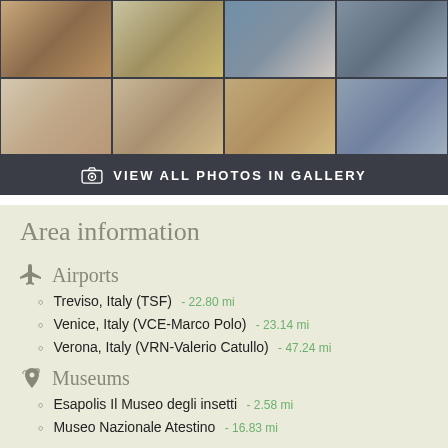[Figure (photo): Photo gallery grid showing hotel rooms, bathrooms, and interior spaces. Top row: ornate statue/sculpture, decorative door/wardrobe, blue bedroom, modern closet/shelving. Bottom row: beige sofa/lounge area, double bathroom sink, bathroom with flowers, bedroom with blue accents.]
VIEW ALL PHOTOS IN GALLERY
Area information
✈  Airports
Treviso, Italy (TSF)  - 22.80 mi
Venice, Italy (VCE-Marco Polo)  - 23.14 mi
Verona, Italy (VRN-Valerio Catullo)  - 47.24 mi
Museums
Esapolis Il Museo degli insetti  - 2.58 mi
Museo Nazionale Atestino  - 16.83 mi